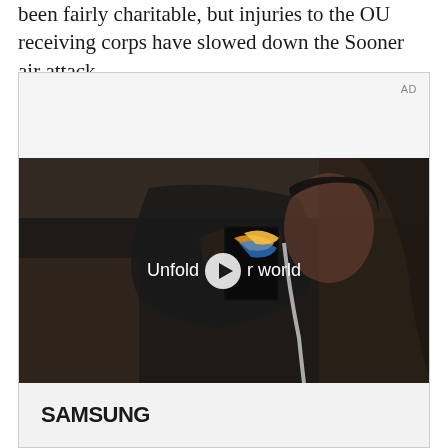been fairly charitable, but injuries to the OU receiving corps have slowed down the Sooner air attack.
[Figure (other): Advertisement for Samsung featuring a video player showing a woman holding a Samsung foldable phone inside a car, with overlay text 'Unfold your world' and a play button. Samsung logo visible at the bottom of the ad unit.]